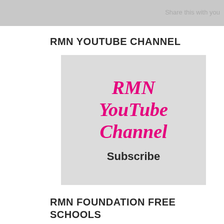Share this with you
RMN YOUTUBE CHANNEL
[Figure (illustration): RMN YouTube Channel thumbnail image with pink italic text 'RMN YouTube Channel' and bold text 'Subscribe' on a light grey background]
RMN FOUNDATION FREE SCHOOLS